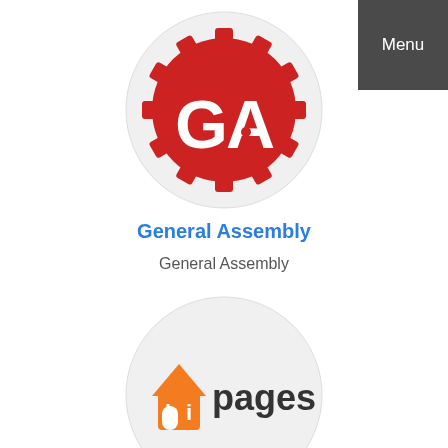[Figure (logo): General Assembly logo — red gear/cog shape with white 'GA' letters inside a circle]
General Assembly
General Assembly
[Figure (logo): hipages logo — orange house icon followed by 'pages' in dark grey text, inside a light grey circle]
Menu